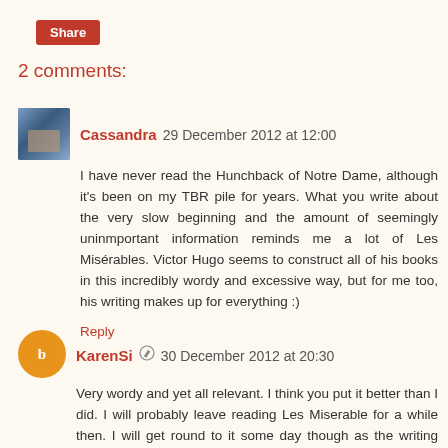Share
2 comments:
Cassandra 29 December 2012 at 12:00
I have never read the Hunchback of Notre Dame, although it's been on my TBR pile for years. What you write about the very slow beginning and the amount of seemingly uninmportant information reminds me a lot of Les Misérables. Victor Hugo seems to construct all of his books in this incredibly wordy and excessive way, but for me too, his writing makes up for everything :)
Reply
KarenSi 30 December 2012 at 20:30
Very wordy and yet all relevant. I think you put it better than I did. I will probably leave reading Les Miserable for a while then. I will get round to it some day though as the writing was too good not to want to read more.